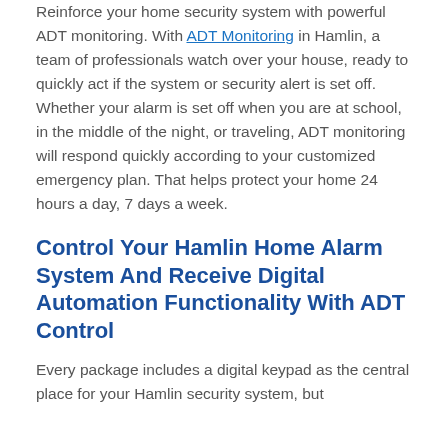Reinforce your home security system with powerful ADT monitoring. With ADT Monitoring in Hamlin, a team of professionals watch over your house, ready to quickly act if the system or security alert is set off. Whether your alarm is set off when you are at school, in the middle of the night, or traveling, ADT monitoring will respond quickly according to your customized emergency plan. That helps protect your home 24 hours a day, 7 days a week.
Control Your Hamlin Home Alarm System And Receive Digital Automation Functionality With ADT Control
Every package includes a digital keypad as the central place for your Hamlin security system, but